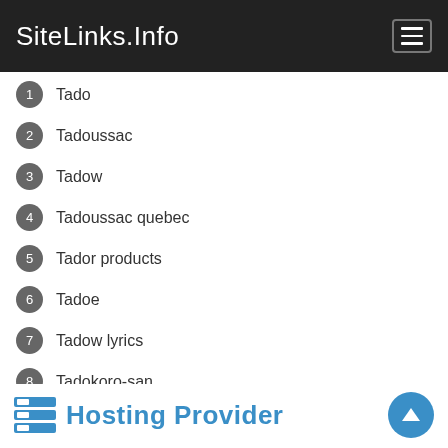SiteLinks.Info
1 Tado
2 Tadoussac
3 Tadow
4 Tadoussac quebec
5 Tador products
6 Tadoe
7 Tadow lyrics
8 Tadokoro-san
9 Tadow masego
Export: Notepad | Load more »
Hosting Provider